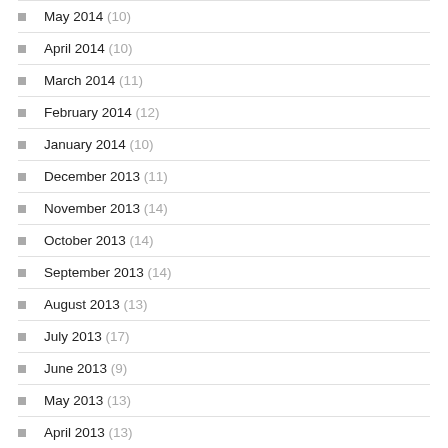May 2014 (10)
April 2014 (10)
March 2014 (11)
February 2014 (12)
January 2014 (10)
December 2013 (11)
November 2013 (14)
October 2013 (14)
September 2013 (14)
August 2013 (13)
July 2013 (17)
June 2013 (9)
May 2013 (13)
April 2013 (13)
March 2013 (10)